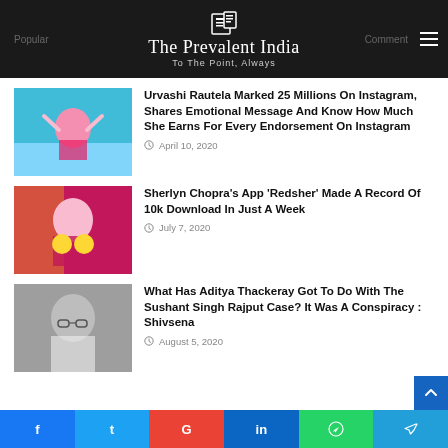The Prevalent India — To The Point, Always
Urvashi Rautela Marked 25 Millions On Instagram, Shares Emotional Message And Know How Much She Earns For Every Endorsement On Instagram
April 10, 2020
Sherlyn Chopra's App 'Redsher' Made A Record Of 10k Download In Just A Week
July 7, 2020
What Has Aditya Thackeray Got To Do With The Sushant Singh Rajput Case? It Was A Conspiracy : Shivsena
August 5, 2020